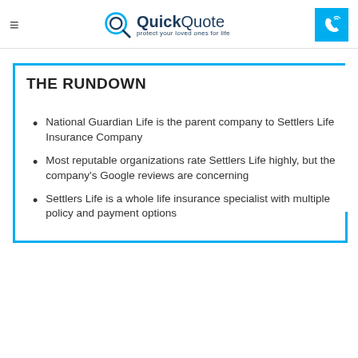QuickQuote — protect your loved ones for life
THE RUNDOWN
National Guardian Life is the parent company to Settlers Life Insurance Company
Most reputable organizations rate Settlers Life highly, but the company's Google reviews are concerning
Settlers Life is a whole life insurance specialist with multiple policy and payment options